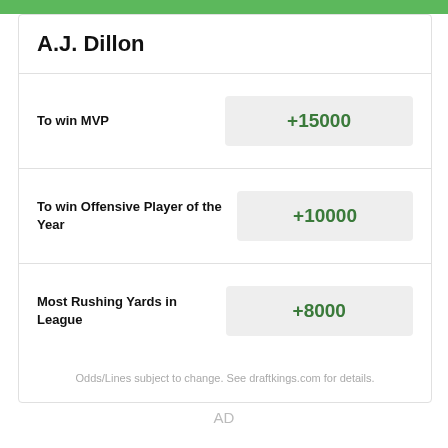A.J. Dillon
| Bet | Odds |
| --- | --- |
| To win MVP | +15000 |
| To win Offensive Player of the Year | +10000 |
| Most Rushing Yards in League | +8000 |
Odds/Lines subject to change. See draftkings.com for details.
AD